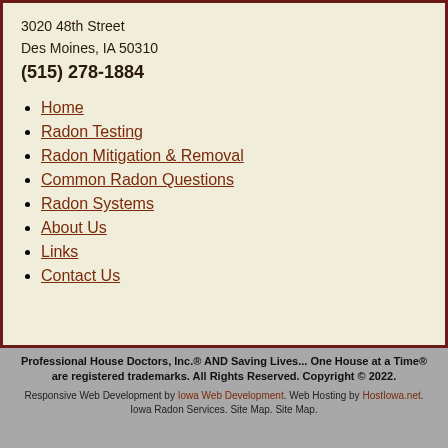3020 48th Street
Des Moines, IA 50310
(515) 278-1884
Home
Radon Testing
Radon Mitigation & Removal
Common Radon Questions
Radon Systems
About Us
Links
Contact Us
Professional House Doctors, Inc.® AND Saving Lives... One House at a Time® are registered trademarks. All Rights Reserved. Copyright © 2022.
Responsive Web Development by Iowa Web Development. Web Hosting by HostIowa.net. Iowa Radon Services. Site Map. Site Map.